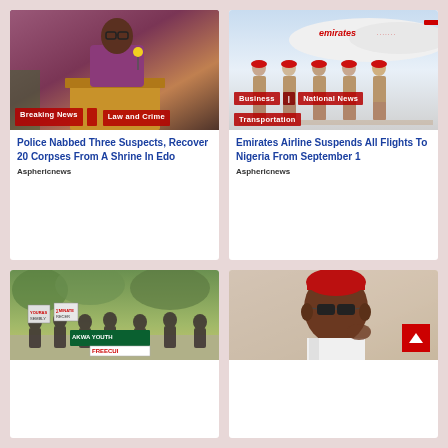[Figure (photo): Man in suit speaking at a podium with microphone, wearing glasses]
Breaking News | Law and Crime
Police Nabbed Three Suspects, Recover 20 Corpses From A Shrine In Edo
Asphericnews
[Figure (photo): Emirates airline crew standing in front of an Emirates aircraft]
Business | National News | Transportation
Emirates Airline Suspends All Flights To Nigeria From September 1
Asphericnews
[Figure (photo): Protest crowd holding signs, Akwa Youth banner visible]
[Figure (photo): Politician in red cap and sunglasses]